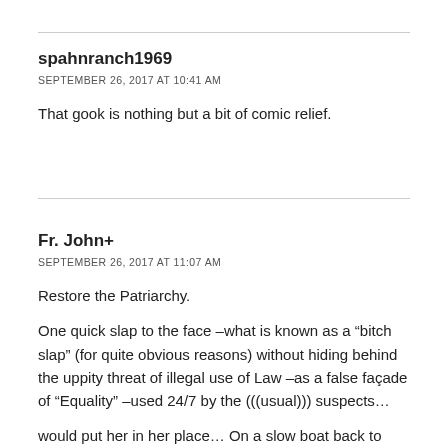spahnranch1969
SEPTEMBER 26, 2017 AT 10:41 AM
That gook is nothing but a bit of comic relief.
Fr. John+
SEPTEMBER 26, 2017 AT 11:07 AM
Restore the Patriarchy.
One quick slap to the face –what is known as a “bitch slap” (for quite obvious reasons) without hiding behind the uppity threat of illegal use of Law –as a false façade of “Equality” –used 24/7 by the (((usual))) suspects…
would put her in her place… On a slow boat back to Flip–land. Let Rudy deal with her there.